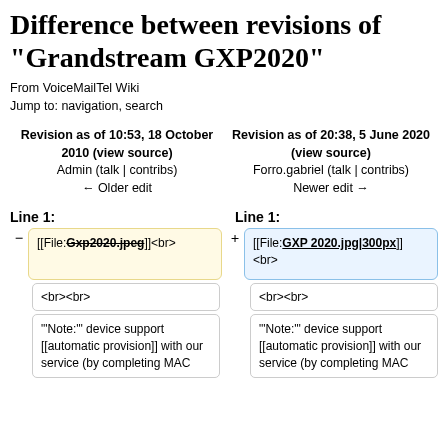Difference between revisions of "Grandstream GXP2020"
From VoiceMailTel Wiki
Jump to: navigation, search
| Left revision | Right revision |
| --- | --- |
| Revision as of 10:53, 18 October 2010 (view source)
Admin (talk | contribs)
← Older edit | Revision as of 20:38, 5 June 2020 (view source)
Forro.gabriel (talk | contribs)
Newer edit → |
Line 1:
Line 1:
[[File:Gxp2020.jpeg]]<br>
[[File:GXP 2020.jpg|300px]]
<br>
<br><br>
<br><br>
"'Note:'" device support [[automatic provision]] with our service (by completing MAC
"'Note:'" device support [[automatic provision]] with our service (by completing MAC